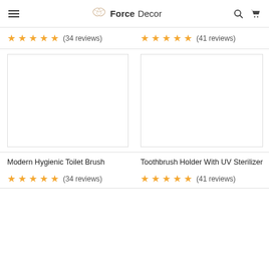ForceDecor
★★★★★ (34 reviews)
★★★★★ (41 reviews)
[Figure (photo): Product image placeholder for Modern Hygienic Toilet Brush]
[Figure (photo): Product image placeholder for Toothbrush Holder With UV Sterilizer]
Modern Hygienic Toilet Brush
Toothbrush Holder With UV Sterilizer
★★★★★ (34 reviews)
★★★★★ (41 reviews)